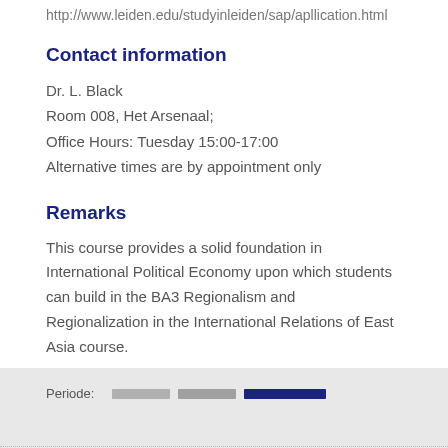http://www.leiden.edu/studyinleiden/sap/apllication.html
Contact information
Dr. L. Black
Room 008, Het Arsenaal;
Office Hours: Tuesday 15:00-17:00
Alternative times are by appointment only
Remarks
This course provides a solid foundation in International Political Economy upon which students can build in the BA3 Regionalism and Regionalization in the International Relations of East Asia course.
Periode: